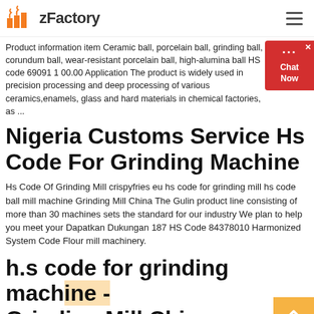zFactory
Product information item Ceramic ball, porcelain ball, grinding ball, corundum ball, wear-resistant porcelain ball, high-alumina ball HS code 69091 1 00.00 Application The product is widely used in precision processing and deep processing of various ceramics,enamels, glass and hard materials in chemical factories, as ...
Nigeria Customs Service Hs Code For Grinding Machine
Hs Code Of Grinding Mill crispyfries eu hs code for grinding mill hs code ball mill machine Grinding Mill China The Gulin product line consisting of more than 30 machines sets the standard for our industry We plan to help you meet your Dapatkan Dukungan 187 HS Code 84378010 Harmonized System Code Flour mill machinery.
h.s code for grinding machine - Grinding Mill China